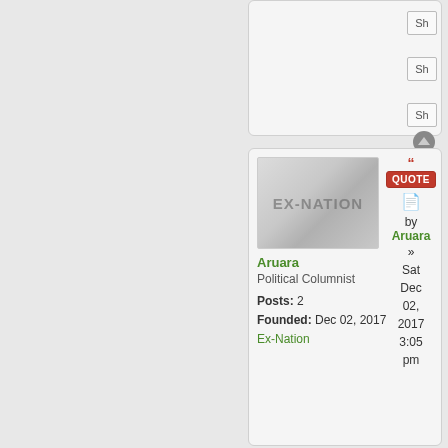[Figure (screenshot): Top panel of a forum page showing partial content with Sh buttons and navigation icon]
[Figure (screenshot): Forum post panel showing user Aruara, Political Columnist, with EX-NATION avatar, Posts: 2, Founded: Dec 02, 2017, and post timestamp Sat Dec 02, 2017 3:05 pm]